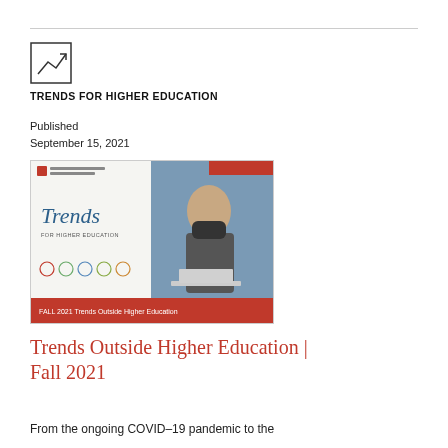TRENDS FOR HIGHER EDUCATION
Published
September 15, 2021
[Figure (photo): Cover image of the Fall 2021 Trends for Higher Education report, showing a person wearing a mask working on a laptop, with icons and a red banner reading 'FALL 2021 Trends Outside Higher Education']
Trends Outside Higher Education | Fall 2021
From the ongoing COVID–19 pandemic to the